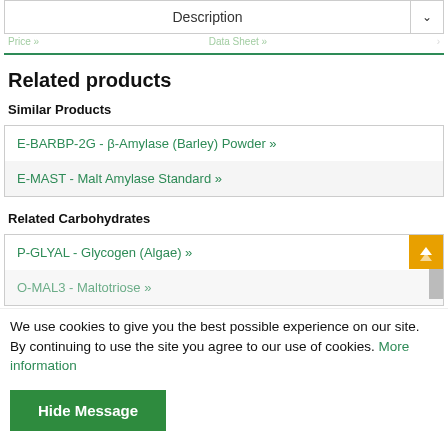Description
Related products
Similar Products
E-BARBP-2G - β-Amylase (Barley) Powder »
E-MAST - Malt Amylase Standard »
Related Carbohydrates
P-GLYAL - Glycogen (Algae) »
O-MAL3 - Maltotriose »
We use cookies to give you the best possible experience on our site. By continuing to use the site you agree to our use of cookies. More information
Hide Message